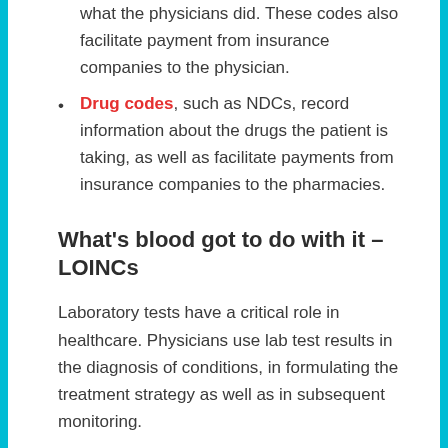what the physicians did. These codes also facilitate payment from insurance companies to the physician.
Drug codes, such as NDCs, record information about the drugs the patient is taking, as well as facilitate payments from insurance companies to the pharmacies.
What's blood got to do with it – LOINCs
Laboratory tests have a critical role in healthcare. Physicians use lab test results in the diagnosis of conditions, in formulating the treatment strategy as well as in subsequent monitoring.
For example, a hemoglobin A1C result of >8%